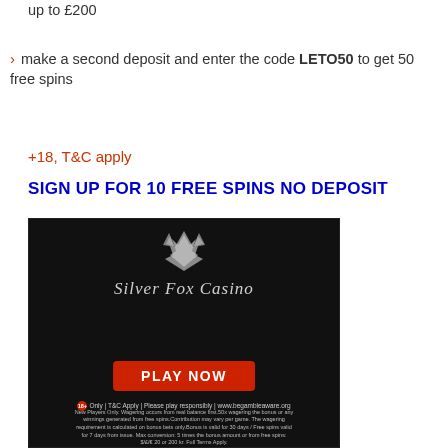up to £200
make a second deposit and enter the code LETO50 to get 50 free spins
+18, T&C apply
SIGN UP FOR 10 FREE SPINS NO DEPOSIT
[Figure (photo): Silver Fox Casino advertisement banner with dark background, fox logo, Play Now button, and responsible gambling disclaimer text.]